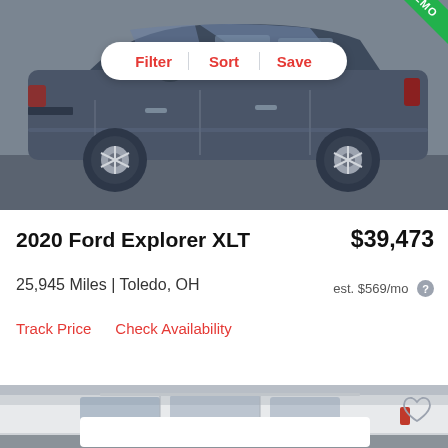[Figure (photo): Side view of a dark gray 2020 Ford Explorer XLT SUV on a gray surface, with Filter/Sort/Save controls overlaid and a green DEMO corner banner]
2020 Ford Explorer XLT
$39,473
25,945 Miles | Toledo, OH
est. $569/mo
Track Price
Check Availability
[Figure (photo): Partial side view of a white/silver SUV (second listing), showing roofline and windows]